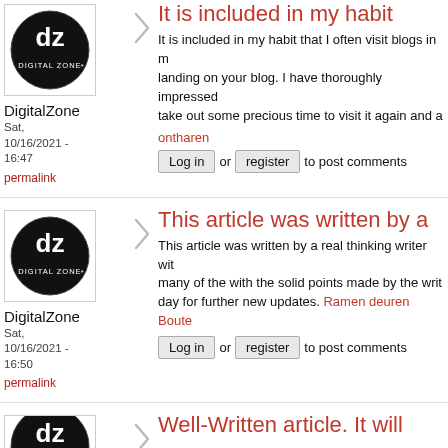[Figure (logo): DigitalZone logo - black circle with 'dz' monogram and 'DIGITAL ZONE*' text]
DigitalZone
Sat, 10/16/2021 - 16:47
permalink
It is included in my habit
It is included in my habit that I often visit blogs in m... landing on your blog. I have thoroughly impressed... take out some precious time to visit it again and a...
ontharen
Login or register to post comments
[Figure (logo): DigitalZone logo - black circle with 'dz' monogram and 'DIGITAL ZONE*' text]
DigitalZone
Sat, 10/16/2021 - 16:50
permalink
This article was written by a
This article was written by a real thinking writer wit... many of the with the solid points made by the writ... day for further new updates. Ramen deuren Boute...
Login or register to post comments
[Figure (logo): DigitalZone logo - black circle with 'dz' monogram and 'DIGITAL ZONE*' text (partially visible)]
Well-Written article. It will